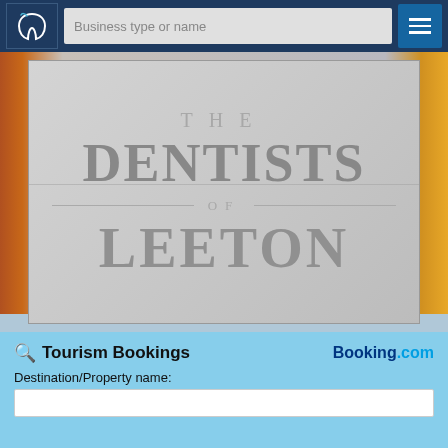Business type or name
[Figure (photo): Close-up photo of a dental clinic sign reading 'THE DENTISTS OF LEETON' in large grey letters on a light grey wall]
Tourism Bookings
Booking.com
Destination/Property name: